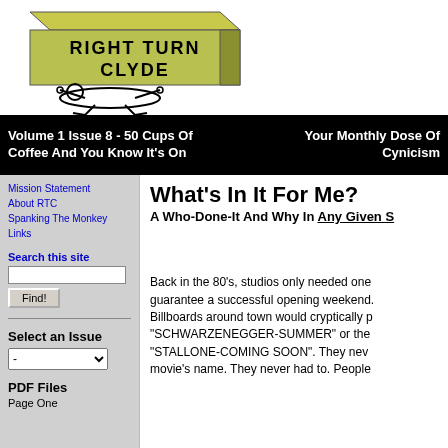[Figure (logo): Right Turn Clyde logo — a green 3D box/block with bold text 'RIGHT TURN CLYDE' on it, with a cartoon figure being crushed underneath]
Volume 1 Issue 8 - 50 Cups Of Coffee And You Know It's On  |  Your Monthly Dose Of Cynicism
Mission Statement
About RTC
Spanking The Monkey
Links
Search this site
Select an Issue
PDF Files
Page One
What's In It For Me?
A Who-Done-It And Why In Any Given S...
Back in the 80's, studios only needed one guarantee a successful opening weekend. Billboards around town would cryptically p "SCHWARZENEGGER-SUMMER" or the "STALLONE-COMING SOON". They nev movie's name. They never had to. People